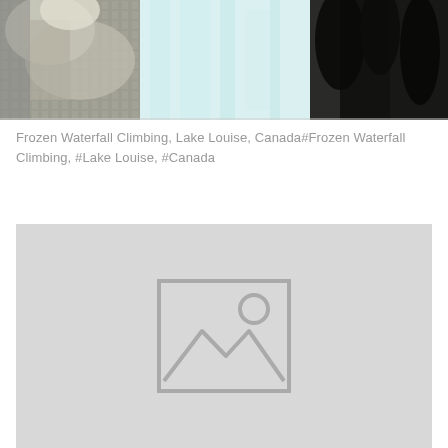[Figure (photo): Frozen waterfall climbing scene at Lake Louise, Canada — snow-covered trees on left, pale icy waterfall in center, dark evergreen trees on right]
Frozen Waterfall Climbing, Lake Louise, Canada#Frozen Waterfall Climbing, #Lake Louise, #Canada
[Figure (photo): Placeholder image — grey rectangle with image placeholder icon (mountain and sun outline)]